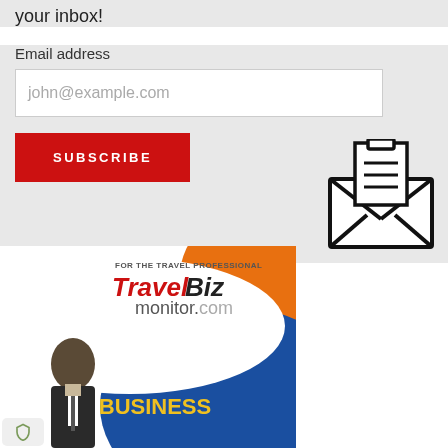your inbox!
Email address
john@example.com
SUBSCRIBE
[Figure (illustration): Open envelope icon with a document/letter visible inside, drawn in outline style]
[Figure (photo): TravelBiz Monitor advertisement banner showing 'FOR THE TRAVEL PROFESSIONAL TravelBiz monitor.com UPGRADE YOUR BUSINESS' with a man in a suit looking down, orange and blue background design]